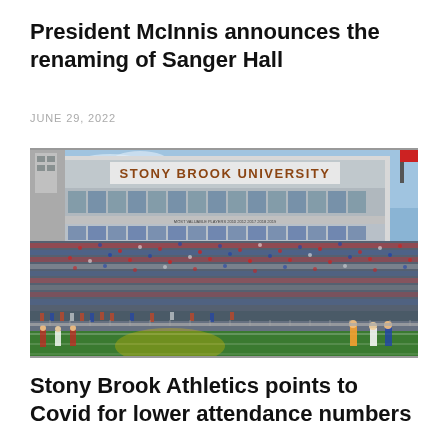President McInnis announces the renaming of Sanger Hall
JUNE 29, 2022
[Figure (photo): Stony Brook University stadium grandstand filled with spectators, showing the large 'STONY BROOK UNIVERSITY' sign on the press box, with players on the field below]
Stony Brook Athletics points to Covid for lower attendance numbers